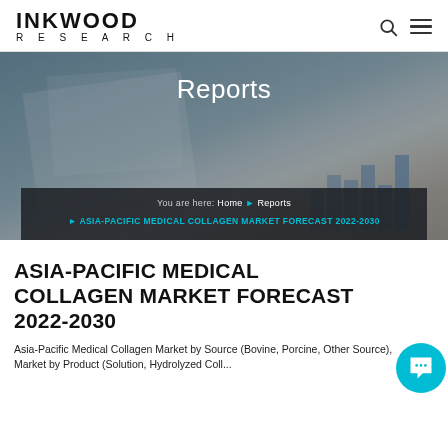INKWOOD RESEARCH
[Figure (photo): Hero banner showing documents and charts on a desk, with a dark overlay. 'Reports' title text centered on the banner.]
You are here: Home > Reports > ASIA-PACIFIC MEDICAL COLLAGEN MARKET FORECAST 2022-2030
ASIA-PACIFIC MEDICAL COLLAGEN MARKET FORECAST 2022-2030
Asia-Pacific Medical Collagen Market by Source (Bovine, Porcine, Other Source), Market by Product (Solution, Hydrolyzed Coll...